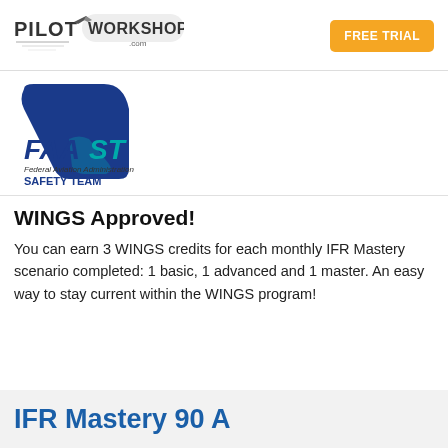[Figure (logo): PilotWorkshops.com logo with airplane icon and speed lines]
[Figure (logo): FAASt Federal Aviation Administration Safety Team logo with blue airplane tail and teal text]
WINGS Approved!
You can earn 3 WINGS credits for each monthly IFR Mastery scenario completed: 1 basic, 1 advanced and 1 master. An easy way to stay current within the WINGS program!
IFR Mastery 90 A...